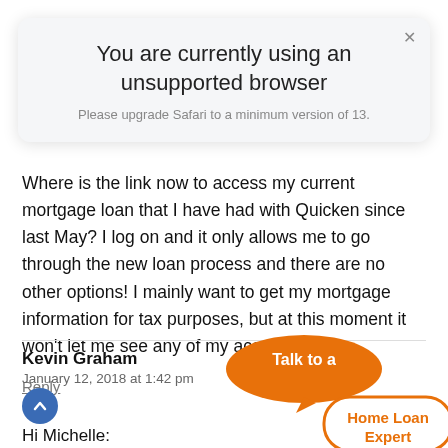[Figure (screenshot): Modal dialog with title 'You are currently using an unsupported browser' and subtitle 'Please upgrade Safari to a minimum version of 13.']
Where is the link now to access my current mortgage loan that I have had with Quicken since last May? I log on and it only allows me to go through the new loan process and there are no other options! I mainly want to get my mortgage information for tax purposes, but at this moment it won't let me see any of my account.
Reply
Kevin Graham
January 12, 2018 at 1:42 pm
Hi Michelle:
[Figure (illustration): Orange speech bubble graphic with text 'Talk to a Home Loan Expert']